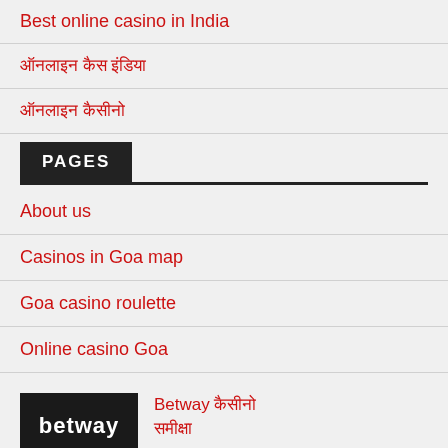Best online casino in India
ऑनलाइन कैस इंडिया
ऑनलाइन कैसीनो
PAGES
About us
Casinos in Goa map
Goa casino roulette
Online casino Goa
[Figure (logo): Betway brand logo in black background with white text]
Betway कैसीनो समीक्षा